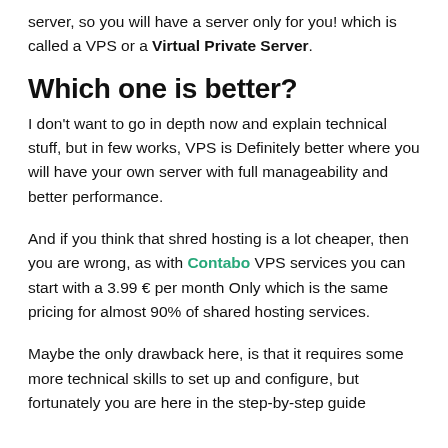server, so you will have a server only for you! which is called a VPS or a Virtual Private Server.
Which one is better?
I don't want to go in depth now and explain technical stuff, but in few works, VPS is Definitely better where you will have your own server with full manageability and better performance.
And if you think that shred hosting is a lot cheaper, then you are wrong, as with Contabo VPS services you can start with a 3.99 € per month Only which is the same pricing for almost 90% of shared hosting services.
Maybe the only drawback here, is that it requires some more technical skills to set up and configure, but fortunately you are here in the step-by-step guide